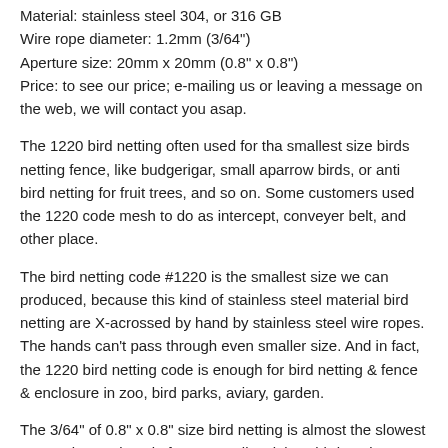Material: stainless steel 304, or 316 GB
Wire rope diameter: 1.2mm (3/64")
Aperture size: 20mm x 20mm (0.8" x 0.8")
Price: to see our price; e-mailing us or leaving a message on the web, we will contact you asap.
The 1220 bird netting often used for tha smallest size birds netting fence, like budgerigar, small aparrow birds, or anti bird netting for fruit trees, and so on. Some customers used the 1220 code mesh to do as intercept, conveyer belt, and other place.
The bird netting code #1220 is the smallest size we can produced, because this kind of stainless steel material bird netting are X-acrossed by hand by stainless steel wire ropes. The hands can't pass through even smaller size. And in fact, the 1220 bird netting code is enough for bird netting & fence & enclosure in zoo, bird parks, aviary, garden.
The 3/64" of 0.8" x 0.8" size bird netting is almost the slowest we can be produced of 1220 small stainless bird netting code.